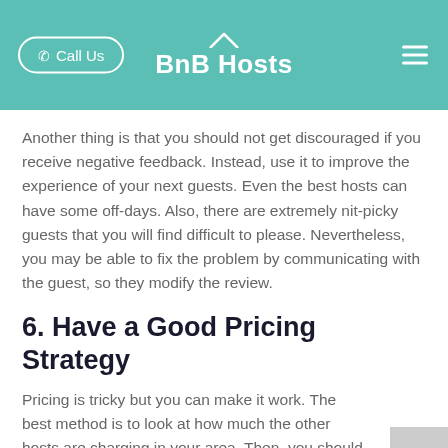BnB Hosts
Another thing is that you should not get discouraged if you receive negative feedback. Instead, use it to improve the experience of your next guests. Even the best hosts can have some off-days. Also, there are extremely nit-picky guests that you will find difficult to please. Nevertheless, you may be able to fix the problem by communicating with the guest, so they modify the review.
6. Have a Good Pricing Strategy
Pricing is tricky but you can make it work. The best method is to look at how much the other hosts are charging in your area. Then, you should do your best to have a competitive price.